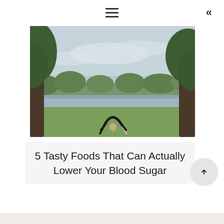≡  «
[Figure (photo): Person doing a backbend yoga pose (wheel pose) on grass in a park near a lake, surrounded by large trees with overcast sky]
5 Tasty Foods That Can Actually Lower Your Blood Sugar